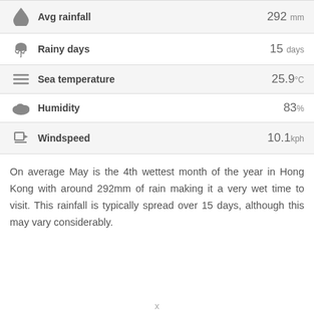| Icon | Metric | Value |
| --- | --- | --- |
| 💧 | Avg rainfall | 292 mm |
| ☂ | Rainy days | 15 days |
| ≡ | Sea temperature | 25.9°C |
| ☁ | Humidity | 83% |
| ⚑ | Windspeed | 10.1kph |
On average May is the 4th wettest month of the year in Hong Kong with around 292mm of rain making it a very wet time to visit. This rainfall is typically spread over 15 days, although this may vary considerably.